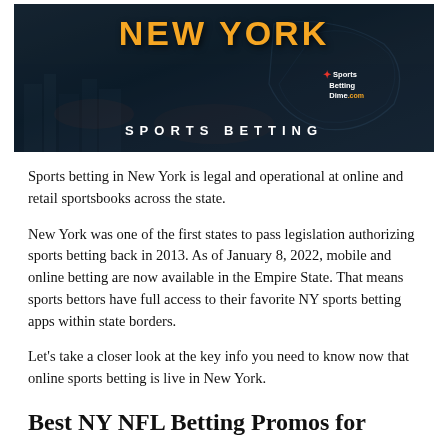[Figure (photo): New York Sports Betting banner image with orange 'NEW YORK' text and white 'SPORTS BETTING' subtitle over a dark city background, with Sports Betting Dime logo]
Sports betting in New York is legal and operational at online and retail sportsbooks across the state.
New York was one of the first states to pass legislation authorizing sports betting back in 2013. As of January 8, 2022, mobile and online betting are now available in the Empire State. That means sports bettors have full access to their favorite NY sports betting apps within state borders.
Let's take a closer look at the key info you need to know now that online sports betting is live in New York.
Best NY NFL Betting Promos for